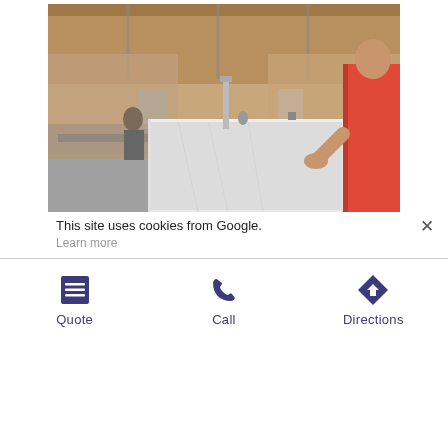[Figure (photo): Interior of a stone/countertop fabrication workshop. A worker in a red apron stands at the right side holding a large white marble-like countertop slab. Other workers and machinery are visible in the background of the industrial warehouse.]
This site uses cookies from Google.
Learn more
[Figure (infographic): Three action buttons: Quote (list/menu icon), Call (phone icon), Directions (turn arrow icon). All icons and labels are in dark purple/navy color.]